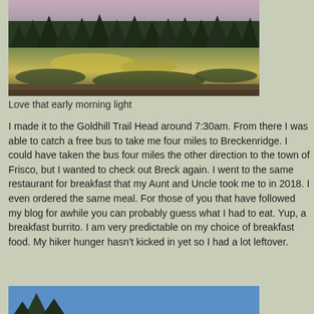[Figure (photo): Outdoor landscape photo showing a meadow with green and yellow grasses, dark pine/spruce trees in the background, and a pale pink/purple early morning sky.]
Love that early morning light
I made it to the Goldhill Trail Head around 7:30am. From there I was able to catch a free bus to take me four miles to Breckenridge. I could have taken the bus four miles the other direction to the town of Frisco, but I wanted to check out Breck again. I went to the same restaurant for breakfast that my Aunt and Uncle took me to in 2018. I even ordered the same meal. For those of you that have followed my blog for awhile you can probably guess what I had to eat. Yup, a breakfast burrito. I am very predictable on my choice of breakfast food. My hiker hunger hasn't kicked in yet so I had a lot leftover.
[Figure (photo): Bottom of a second outdoor photo showing blue sky and tops of pine trees, partially visible at the bottom of the page.]